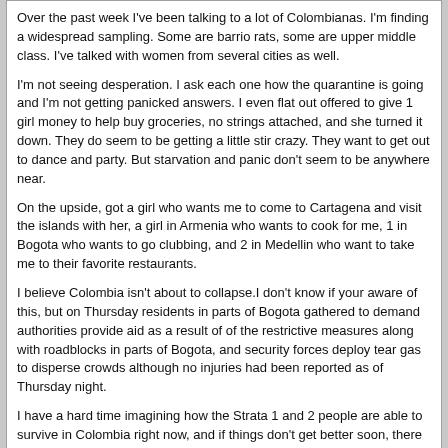Over the past week I've been talking to a lot of Colombianas. I'm finding a widespread sampling. Some are barrio rats, some are upper middle class. I've talked with women from several cities as well.

I'm not seeing desperation. I ask each one how the quarantine is going and I'm not getting panicked answers. I even flat out offered to give 1 girl money to help buy groceries, no strings attached, and she turned it down. They do seem to be getting a little stir crazy. They want to get out to dance and party. But starvation and panic don't seem to be anywhere near.

On the upside, got a girl who wants me to come to Cartagena and visit the islands with her, a girl in Armenia who wants to cook for me, 1 in Bogota who wants to go clubbing, and 2 in Medellin who want to take me to their favorite restaurants.

I believe Colombia isn't about to collapse.I don't know if your aware of this, but on Thursday residents in parts of Bogota gathered to demand authorities provide aid as a result of of the restrictive measures along with roadblocks in parts of Bogota, and security forces deploy tear gas to disperse crowds although no injuries had been reported as of Thursday night.

I have a hard time imagining how the Strata 1 and 2 people are able to survive in Colombia right now, and if things don't get better soon, there will be an uptick in protests, violence, etc. This is just my opinion, and I hope this doesn't happen. Hopefully Colombia will come out of the Pandemic soon and less scarred than other Countries.
Kafka  04-17-20, 20:25
Over the past week I've been talking to a lot of Colombianas. I'm finding a widespread sampling. Some are barrio rats, some are upper middle class. I've talked with women from several cities as well.

I'm not seeing desperation. I ask each one how the quarantine is going and I'm not getting panicked answers. I even flat out offered to give 1 girl money to help buy groceries, no strings attached, and she turned it down. They do seem